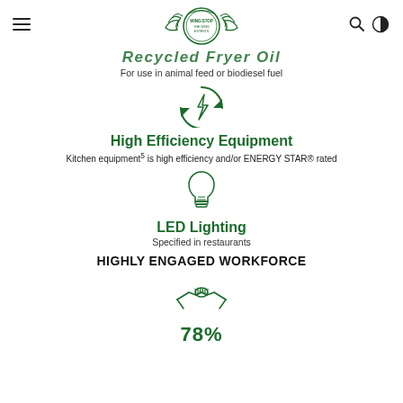Wingstop navigation header with logo
Recycled Fryer Oil
For use in animal feed or biodiesel fuel
[Figure (illustration): Circular recycling icon with lightning bolt in the center, green outline]
High Efficiency Equipment
Kitchen equipment5 is high efficiency and/or ENERGY STAR® rated
[Figure (illustration): Light bulb icon with green outline]
LED Lighting
Specified in restaurants
HIGHLY ENGAGED WORKFORCE
[Figure (illustration): Hands shaking / handshake icon, green outline]
78%